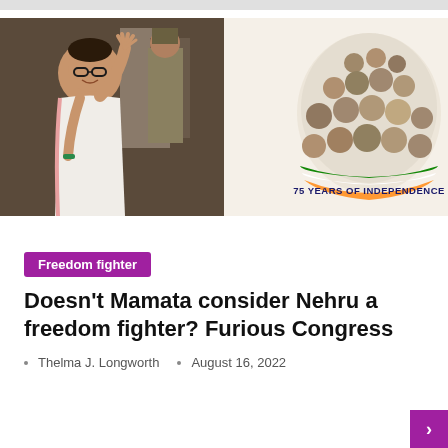[Figure (photo): Left: A woman in white sari waving, with people in uniform behind her. Right: An illustration of Indian freedom fighters arranged in a dome shape with text '75 YEARS OF INDEPENDENCE' in tricolor design.]
Freedom fighter
Doesn't Mamata consider Nehru a freedom fighter? Furious Congress
Thelma J. Longworth   August 16, 2022